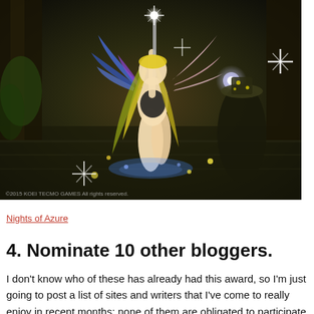[Figure (photo): Screenshot from the video game 'Nights of Azure' showing an anime-style female character with blonde hair, blue and purple wings, holding a glowing weapon, floating in a fantasy dungeon environment with sparkle effects and a mysterious cloaked figure nearby. Copyright text visible at bottom: © KOEI TECMO GAMES All rights reserved.]
Nights of Azure
4. Nominate 10 other bloggers.
I don't know who of these has already had this award, so I'm just going to post a list of sites and writers that I've come to really enjoy in recent months; none of them are obligated to participate in this if they don't want to, of course — the main